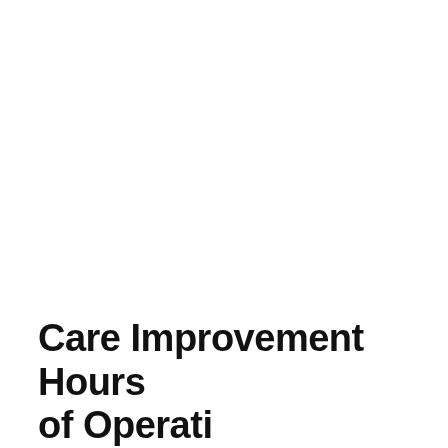Care Improvement Hours of Operation